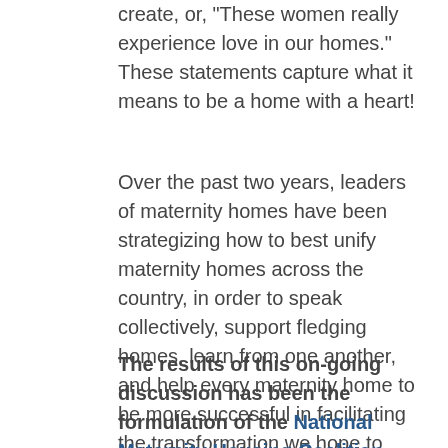create, or, 'These women really experience love in our homes.' These statements capture what it means to be a home with a heart!
Over the past two years, leaders of maternity homes have been strategizing how to best unify maternity homes across the country, in order to speak collectively, support fledging homes, learn from one another, and help every maternity home to be more successful in facilitating the transformation we hope to see in the lives of the women we serve.
The results of this on-going discussion has been the formulation of the National Maternity Housing Coalition (NMHC), which is now reaching out to the more than 450 U.S. maternity homes to provide support and resources for the unique work of providing housing to homeless pregnant...